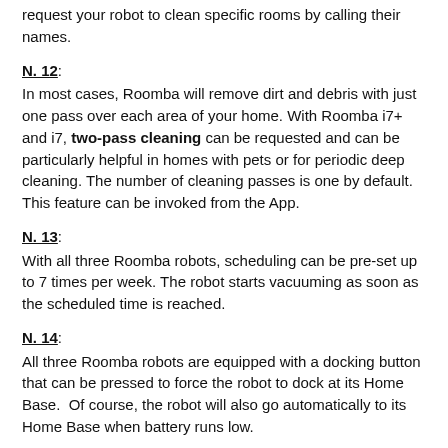request your robot to clean specific rooms by calling their names.
N. 12:
In most cases, Roomba will remove dirt and debris with just one pass over each area of your home. With Roomba i7+ and i7, two-pass cleaning can be requested and can be particularly helpful in homes with pets or for periodic deep cleaning. The number of cleaning passes is one by default. This feature can be invoked from the App.
N. 13:
With all three Roomba robots, scheduling can be pre-set up to 7 times per week. The robot starts vacuuming as soon as the scheduled time is reached.
N. 14:
All three Roomba robots are equipped with a docking button that can be pressed to force the robot to dock at its Home Base. Of course, the robot will also go automatically to its Home Base when battery runs low.